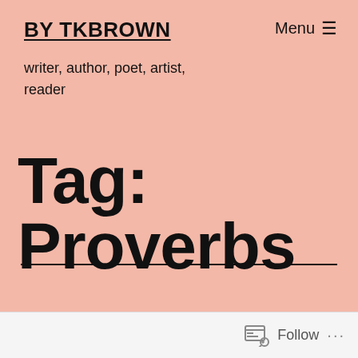BY TKBROWN
writer, author, poet, artist, reader
Tag: Proverbs
Follow